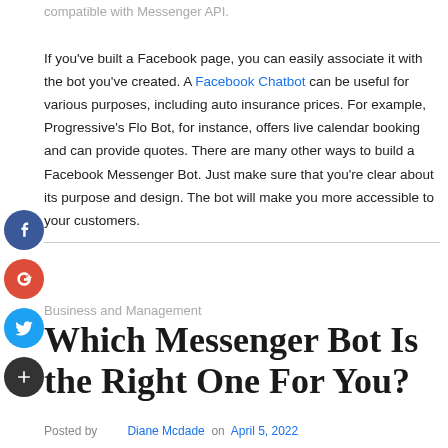compatible with Messenger API.

If you've built a Facebook page, you can easily associate it with the bot you've created. A Facebook Chatbot can be useful for various purposes, including auto insurance prices. For example, Progressive's Flo Bot, for instance, offers live calendar booking and can provide quotes. There are many other ways to build a Facebook Messenger Bot. Just make sure that you're clear about its purpose and design. The bot will make you more accessible to your customers.
[Figure (other): Social media share icons: Facebook (blue), Google+ (red), Twitter (blue), Plus (dark)]
Business and Management
Which Messenger Bot Is the Right One For You?
Posted by  Diane Mcdade  on  April 5, 2022